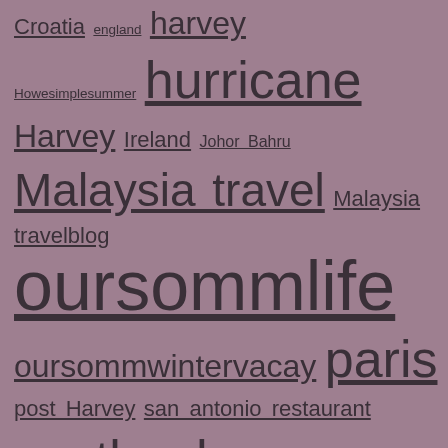Croatia england harvey Howesimplesummer hurricane Harvey Ireland Johor Bahru Malaysia travel Malaysia travelblog oursommlife oursommwintervacay paris post Harvey san antonio restaurant scotland Scotland travel sommvacay2016 Sommvacay2017 Southeast Asia travel summer wine Texas Wine Thanksgiving travel travelblog Travelblogger travel Texas travel with kids wine